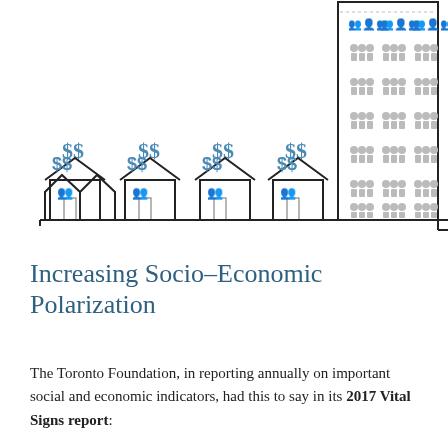[Figure (illustration): Infographic showing socio-economic polarization: left side has four small houses with $$ signs above them (low/middle income housing), right side shows a tall apartment building filled with rows of small grey person icons representing dense population.]
Increasing Socio-Economic Polarization
The Toronto Foundation, in reporting annually on important social and economic indicators, had this to say in its 2017 Vital Signs report: